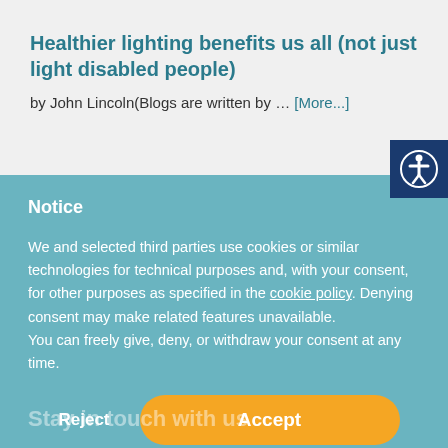Healthier lighting benefits us all (not just light disabled people)
by John Lincoln(Blogs are written by … [More...]
[Figure (illustration): Accessibility icon button — white person in circle on dark blue background]
Notice
We and selected third parties use cookies or similar technologies for technical purposes and, with your consent, for other purposes as specified in the cookie policy. Denying consent may make related features unavailable.
You can freely give, deny, or withdraw your consent at any time.
Reject
Accept
Learn more and customise
Stay in touch with us